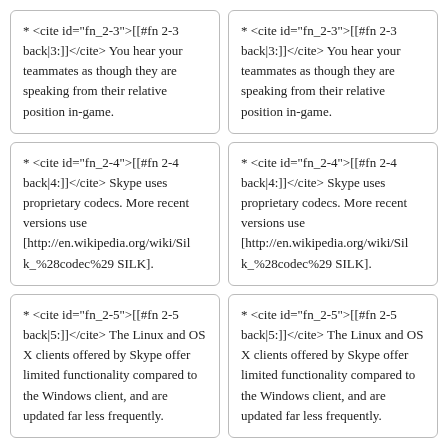* <cite id="fn_2-3">[[#fn 2-3 back|3:]]</cite> You hear your teammates as though they are speaking from their relative position in-game.
* <cite id="fn_2-3">[[#fn 2-3 back|3:]]</cite> You hear your teammates as though they are speaking from their relative position in-game.
* <cite id="fn_2-4">[[#fn 2-4 back|4:]]</cite> Skype uses proprietary codecs. More recent versions use [http://en.wikipedia.org/wiki/Silk_%28codec%29 SILK].
* <cite id="fn_2-4">[[#fn 2-4 back|4:]]</cite> Skype uses proprietary codecs. More recent versions use [http://en.wikipedia.org/wiki/Silk_%28codec%29 SILK].
* <cite id="fn_2-5">[[#fn 2-5 back|5:]]</cite> The Linux and OS X clients offered by Skype offer limited functionality compared to the Windows client, and are updated far less frequently.
* <cite id="fn_2-5">[[#fn 2-5 back|5:]]</cite> The Linux and OS X clients offered by Skype offer limited functionality compared to the Windows client, and are updated far less frequently.